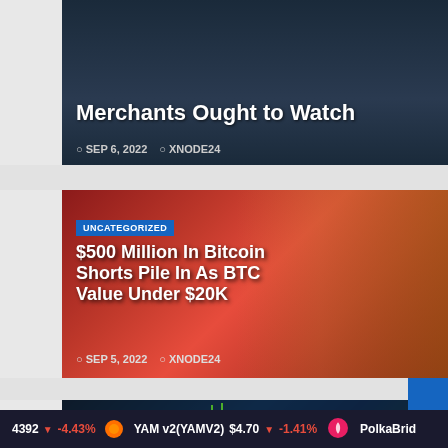[Figure (screenshot): Article card: Merchants Ought to Watch, dated SEP 6 2022, by XNODE24, dark background with aircraft silhouette]
[Figure (screenshot): Article card: $500 Million In Bitcoin Shorts Pile In As BTC Value Under $20K, dated SEP 5 2022, by XNODE24, red background with Bitcoin coin image, UNCATEGORIZED badge]
[Figure (screenshot): Partial article card bottom, UNCATEGORIZED badge, stock chart background, blue and green candlestick chart]
4392  -4.43%   YAM v2(YAMV2)  $4.70  -1.41%   PolkaBrid...